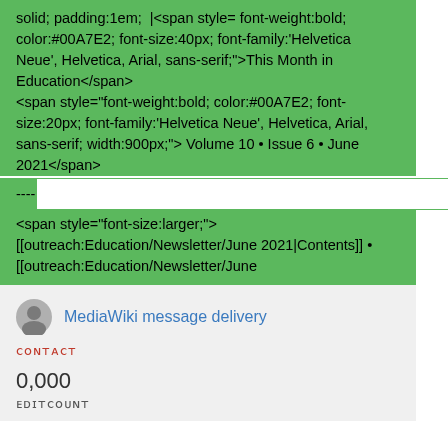solid; padding:1em;  |<span style= font-weight:bold; color:#00A7E2; font-size:40px; font-family:'Helvetica Neue', Helvetica, Arial, sans-serif;">This Month in Education</span>
<span style="font-weight:bold; color:#00A7E2; font-size:20px; font-family:'Helvetica Neue', Helvetica, Arial, sans-serif; width:900px;"> Volume 10 • Issue 6 • June 2021</span>
---- [white bar]
<span style="font-size:larger;">
[[outreach:Education/Newsletter/June 2021|Contents]] •
[[outreach:Education/Newsletter/June
MediaWiki message delivery
ᴄᴏɴᴛᴀᴄᴛ
0,000
ᴇᴅɪᴛᴄᴏᴜɴᴛ